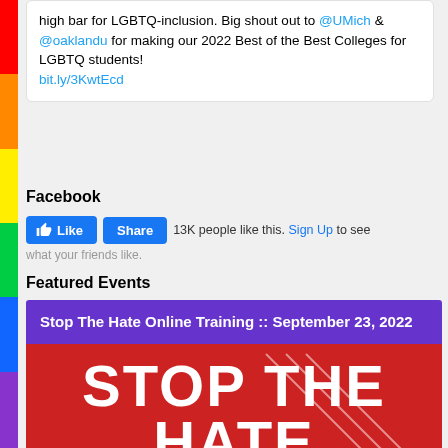high bar for LGBTQ-inclusion. Big shout out to @UMich & @oaklandu for making our 2022 Best of the Best Colleges for LGBTQ students! bit.ly/3KwtEcd
Facebook
13K people like this. Sign Up to see what your friends like.
Featured Events
[Figure (screenshot): Event card for 'Stop The Hate Online Training :: September 23, 2022' with a purple header and red background image showing large white bold text reading STOP THE HATE]